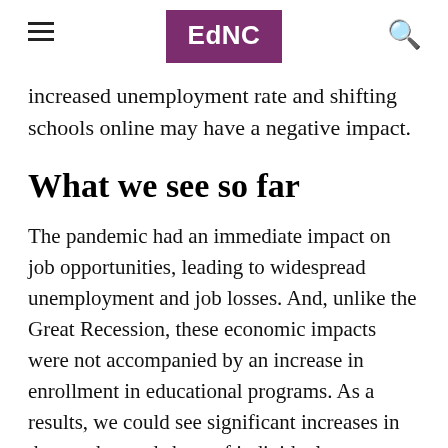EdNC
increased unemployment rate and shifting schools online may have a negative impact.
What we see so far
The pandemic had an immediate impact on job opportunities, leading to widespread unemployment and job losses. And, unlike the Great Recession, these economic impacts were not accompanied by an increase in enrollment in educational programs. As a results, we could see significant increases in the number and share of individuals ages 16-24 who are